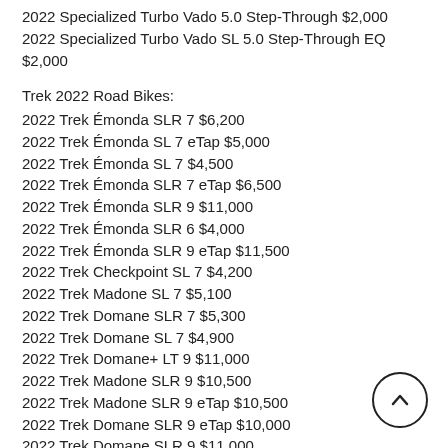2022 Specialized Turbo Vado 5.0 Step-Through $2,000
2022 Specialized Turbo Vado SL 5.0 Step-Through EQ $2,000
Trek 2022 Road Bikes:
2022 Trek Émonda SLR 7 $6,200
2022 Trek Émonda SL 7 eTap $5,000
2022 Trek Émonda SL 7 $4,500
2022 Trek Émonda SLR 7 eTap $6,500
2022 Trek Émonda SLR 9 $11,000
2022 Trek Émonda SLR 6 $4,000
2022 Trek Émonda SLR 9 eTap $11,500
2022 Trek Checkpoint SL 7 $4,200
2022 Trek Madone SL 7 $5,100
2022 Trek Domane SLR 7 $5,300
2022 Trek Domane SL 7 $4,900
2022 Trek Domane+ LT 9 $11,000
2022 Trek Madone SLR 9 $10,500
2022 Trek Madone SLR 9 eTap $10,500
2022 Trek Domane SLR 9 eTap $10,000
2022 Trek Domane SLR 9 $11,000
2022 Trek Domane+ HP 7 $6,100
2022 Trek Domane+ LT 7 $6,000
2022 Trek Madone SLR 7 eTap $6,000
2022 Trek Domane SLR 7 eTap $6,800
2022 Trek Madone SLR 7 $6,300
2022 Trek Domane+ HP $5,000
2022 Trek Madone SL 7 eTap $5,000
2022 Trek Madone SLR 6 $5,000